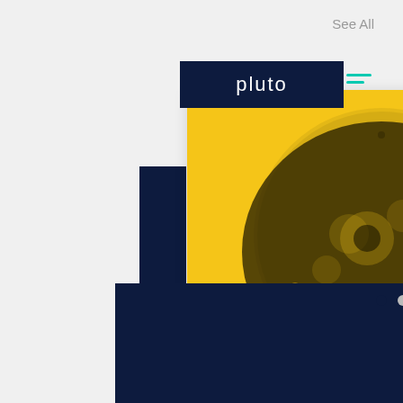See All
[Figure (screenshot): Pluto app screenshot showing a blog post card with a yellow background and halftone moon/face illustration. Card title reads 'Stay curious: The importance of asking...' with 74 views, 0 comments, and a heart icon. Bottom shows Pluto logo on dark navy bar. Pagination dots visible. Back to top button.]
Stay curious: The importance of asking...
74  0
pluto
Add